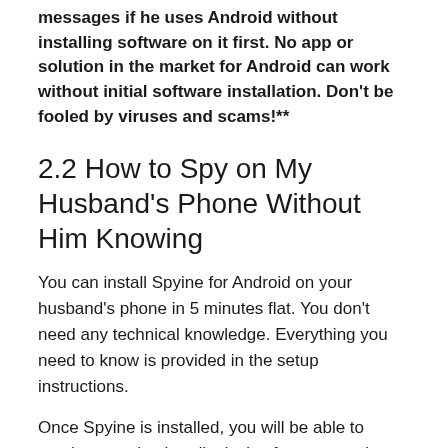messages if he uses Android without installing software on it first. No app or solution in the market for Android can work without initial software installation. Don't be fooled by viruses and scams!**
2.2 How to Spy on My Husband's Phone Without Him Knowing
You can install Spyine for Android on your husband's phone in 5 minutes flat. You don't need any technical knowledge. Everything you need to know is provided in the setup instructions.
Once Spyine is installed, you will be able to monitor your husband's device from any web browser. If necessary, you can uninstall Spyine remotely from the control panel with a single click.